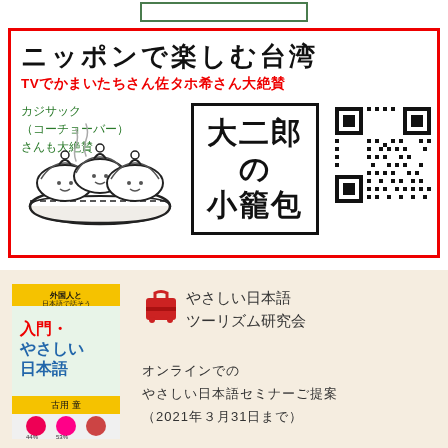[Figure (other): Small green-bordered empty rectangle at top center]
ニッポンで楽しむ台湾
TVでかまいたちさん佐タホ希さん大絶賛
カジサック（コーチョーバー）さんも大絶賛
[Figure (illustration): Drawing of xiaolongbao (soup dumplings) in a steamer basket]
[Figure (other): Stamp/logo box with Japanese text 大二郎の小籠包]
[Figure (other): QR code]
[Figure (photo): Book cover: 入門・やさしい日本語 外国人と日本語で話そう 古用童]
やさしい日本語ツーリズム研究会
オンラインでのやさしい日本語セミナーご提案（2021年３月31日まで）